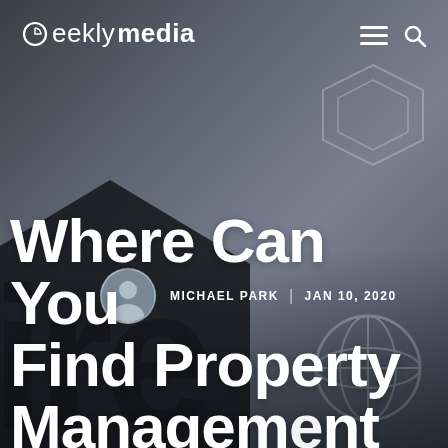geeklymedia
[Figure (photo): Dark blurred background showing a person in a suit tie and geometric/house shapes overlaid, used as hero image background for a blog article]
MICHAEL PARK  |  JAN 10, 2020
Where Can You Find Property Management